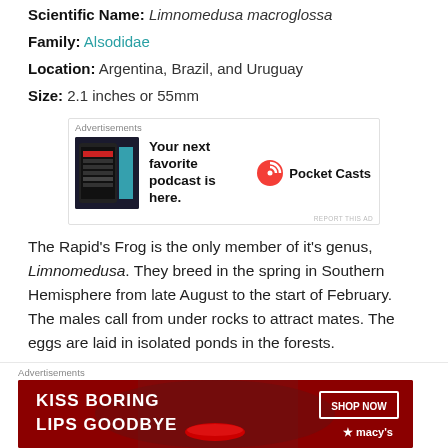Common Name: Rapid's Frog
Scientific Name: Limnomedusa macroglossa
Family: Alsodidae
Location: Argentina, Brazil, and Uruguay
Size: 2.1 inches or 55mm
[Figure (other): Advertisement banner for Pocket Casts podcast app showing app screenshot, text 'Your next favorite podcast is here.' and Pocket Casts logo]
The Rapid's Frog is the only member of it's genus, Limnomedusa. They breed in the spring in Southern Hemisphere from late August to the start of February. The males call from under rocks to attract mates. The eggs are laid in isolated ponds in the forests.
[Figure (other): Advertisement banner for Macy's showing 'KISS BORING LIPS GOODBYE' with SHOP NOW button and Macy's star logo]